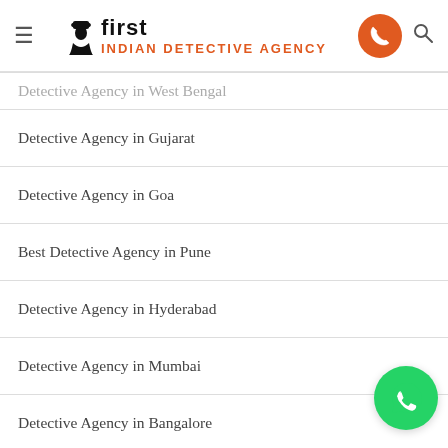First Indian Detective Agency
Detective Agency in West Bengal
Detective Agency in Gujarat
Detective Agency in Goa
Best Detective Agency in Pune
Detective Agency in Hyderabad
Detective Agency in Mumbai
Detective Agency in Bangalore